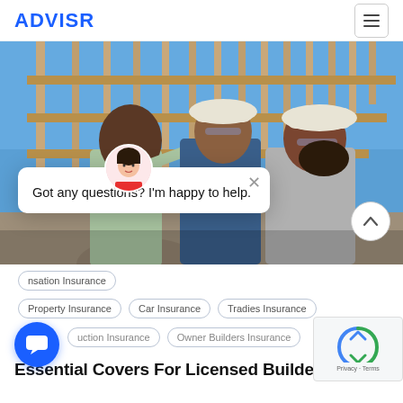ADVISR
[Figure (photo): Three construction workers in white hard hats standing in front of wooden building frame, one pointing upward, against a blue sky.]
Got any questions? I'm happy to help.
nsation Insurance
Property Insurance   Car Insurance   Tradies Insurance
uction Insurance   Owner Builders Insurance
Essential Covers For Licensed Builders